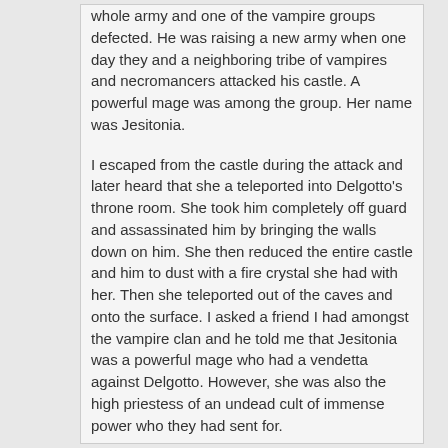whole army and one of the vampire groups defected. He was raising a new army when one day they and a neighboring tribe of vampires and necromancers attacked his castle. A powerful mage was among the group. Her name was Jesitonia.

I escaped from the castle during the attack and later heard that she a teleported into Delgotto's throne room. She took him completely off guard and assassinated him by bringing the walls down on him. She then reduced the entire castle and him to dust with a fire crystal she had with her. Then she teleported out of the caves and onto the surface. I asked a friend I had amongst the vampire clan and he told me that Jesitonia was a powerful mage who had a vendetta against Delgotto. However, she was also the high priestess of an undead cult of immense power who they had sent for.

I decided that an evil power like here, even more powerful than